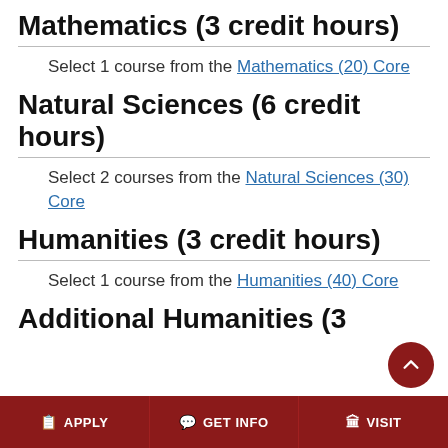Mathematics (3 credit hours)
Select 1 course from the Mathematics (20) Core
Natural Sciences (6 credit hours)
Select 2 courses from the Natural Sciences (30) Core
Humanities (3 credit hours)
Select 1 course from the Humanities (40) Core
Additional Humanities (3...
APPLY  GET INFO  VISIT